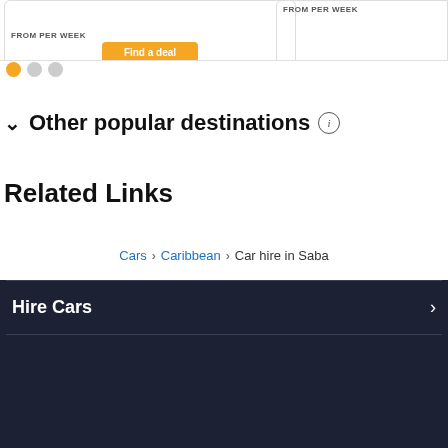[Figure (screenshot): Top portion of a car hire website showing two card elements with price labels and a yellow button, partially cropped at top]
Pagination dots: one active (orange), two inactive (grey)
Other popular destinations (i)
Related Links
Cars > Caribbean > Car hire in Saba
Hire Cars >